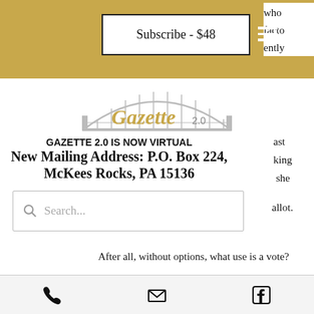Subscribe - $48
[Figure (logo): Gazette 2.0 logo with bridge arch illustration]
GAZETTE 2.0 IS NOW VIRTUAL
New Mailing Address: P.O. Box 224, McKees Rocks, PA 15136
Search...
After all, without options, what use is a vote?
Demonstrating similar tenacity, Republican candidates are this year making efforts to break into the
Phone | Email | Facebook